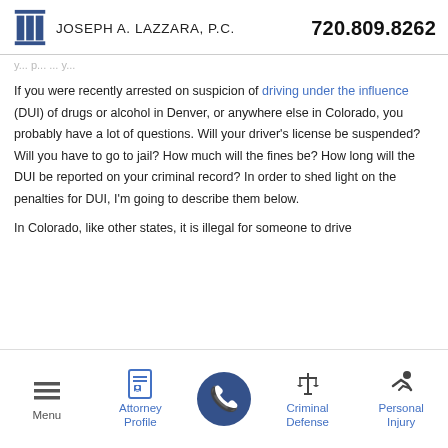Joseph A. Lazzara, P.C.  720.809.8262
If you were recently arrested on suspicion of driving under the influence (DUI) of drugs or alcohol in Denver, or anywhere else in Colorado, you probably have a lot of questions. Will your driver's license be suspended? Will you have to go to jail? How much will the fines be? How long will the DUI be reported on your criminal record? In order to shed light on the penalties for DUI, I'm going to describe them below.
In Colorado, like other states, it is illegal for someone to drive
Menu | Attorney Profile | [phone button] | Criminal Defense | Personal Injury